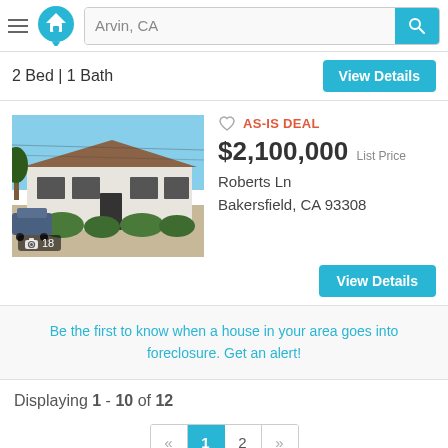Arvin, CA — search bar header with logo and search button
2 Bed | 1 Bath
View Details
[Figure (photo): Exterior photo of a single-story ranch-style house with brown roof, white walls, green shrubs, driveway, and a car parked to the left. Blue sky in background. Photo count overlay showing camera icon and 18.]
AS-IS DEAL
$2,100,000 List Price
Roberts Ln
Bakersfield, CA 93308
View Details
Be the first to know when a house in your area goes into foreclosure. Get an alert!
Displaying 1 - 10 of 12
« 1 2 »